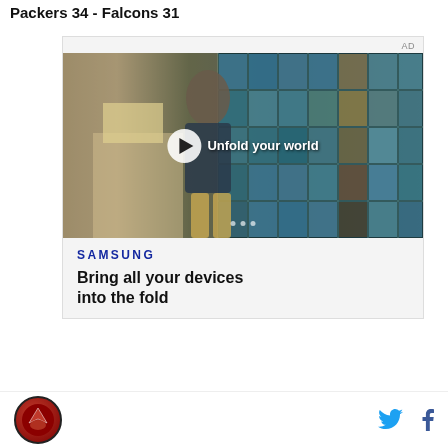Packers 34 - Falcons 31
[Figure (screenshot): Samsung advertisement with video player showing a young man in a cafeteria setting with large windows. Text overlay reads 'Unfold your world' with a play button. Below the video is the Samsung logo and tagline 'Bring all your devices into the fold'.]
Atlanta Falcons logo, Twitter icon, Facebook icon